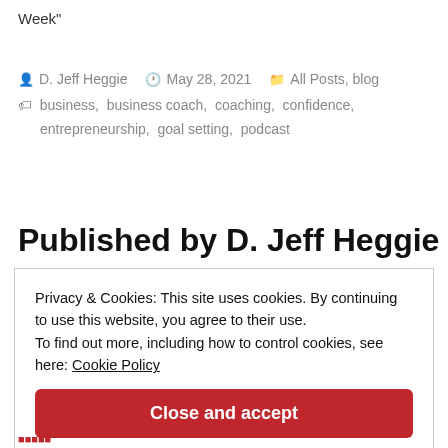Week"
D. Jeff Heggie   May 28, 2021   All Posts, blog   business, business coach, coaching, confidence, entrepreneurship, goal setting, podcast
Published by D. Jeff Heggie
Privacy & Cookies: This site uses cookies. By continuing to use this website, you agree to their use.
To find out more, including how to control cookies, see here: Cookie Policy
Close and accept